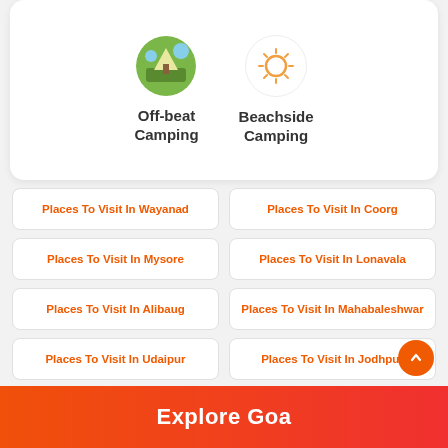[Figure (illustration): Off-beat Camping icon - circular photo of outdoor camping scene]
Off-beat Camping
[Figure (illustration): Beachside Camping icon - sun/beach icon outline]
Beachside Camping
Places To Visit In Wayanad
Places To Visit In Coorg
Places To Visit In Mysore
Places To Visit In Lonavala
Places To Visit In Alibaug
Places To Visit In Mahabaleshwar
Places To Visit In Udaipur
Places To Visit In Jodhpur
Places To Visit In Jaisalmer
Places To Visit In Mount Abu
Places To Visit In Agra
Places To Visit In South Goa
Places To Visit In North Goa
Explore Goa